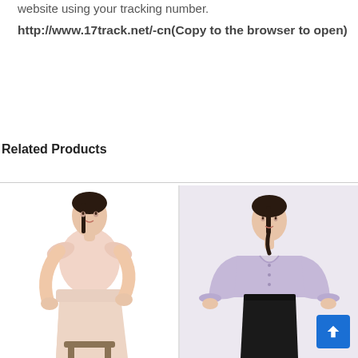website using your tracking number.
http://www.17track.net/-cn(Copy to the browser to open)
Related Products
[Figure (photo): Woman wearing a pink ruffled top and wide-leg trousers, seated on a stool against a white background]
[Figure (photo): Woman wearing a lavender/light purple long-sleeve blouse with black trousers against a light background]